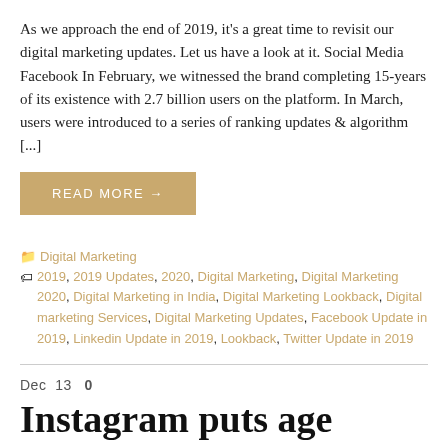As we approach the end of 2019, it's a great time to revisit our digital marketing updates. Let us have a look at it. Social Media Facebook In February, we witnessed the brand completing 15-years of its existence with 2.7 billion users on the platform. In March, users were introduced to a series of ranking updates & algorithm [...]
READ MORE →
Digital Marketing
2019, 2019 Updates, 2020, Digital Marketing, Digital Marketing 2020, Digital Marketing in India, Digital Marketing Lookback, Digital marketing Services, Digital Marketing Updates, Facebook Update in 2019, Linkedin Update in 2019, Lookback, Twitter Update in 2019
Dec 13  0
Instagram puts age